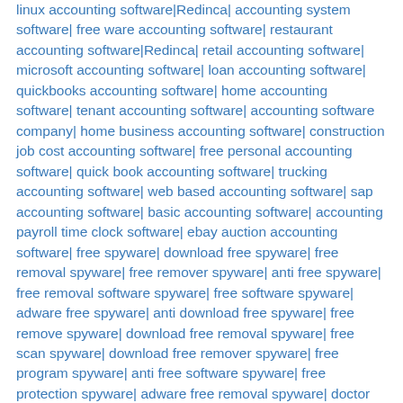linux accounting software|Redinca| accounting system software| free ware accounting software| restaurant accounting software|Redinca| retail accounting software| microsoft accounting software| loan accounting software| quickbooks accounting software| home accounting software| tenant accounting software| accounting software company| home business accounting software| construction job cost accounting software| free personal accounting software| quick book accounting software| trucking accounting software| web based accounting software| sap accounting software| basic accounting software| accounting payroll time clock software| ebay auction accounting software| free spyware| download free spyware| free removal spyware| free remover spyware| anti free spyware| free removal software spyware| free software spyware| adware free spyware| anti download free spyware| free remove spyware| download free removal spyware| free scan spyware| download free remover spyware| free program spyware| anti free software spyware| free protection spyware| adware free removal spyware| doctor download free